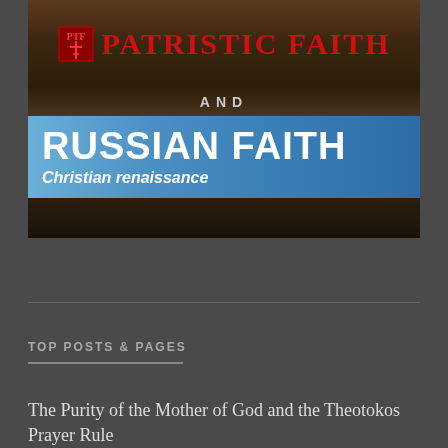[Figure (logo): Combined logo banner for Patristic Faith and Russian Faith (Christian renaissance). Top portion shows 'PTF PATRISTIC FAITH' in red on dark brown textured background with icon, followed by 'AND' in gray, then 'RUSSIAN FAITH' in large white bold text on blue gradient background with 'Christian renaissance' in italic white below, and a dark background section at the bottom.]
TOP POSTS & PAGES
The Purity of the Mother of God and the Theotokos Prayer Rule